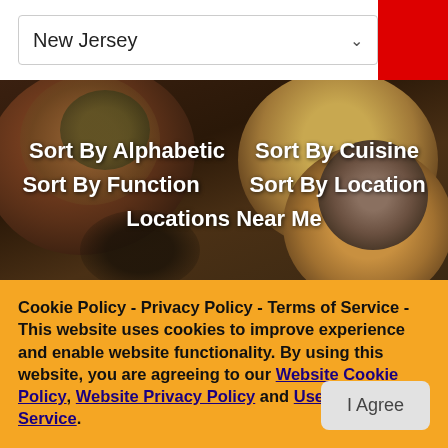New Jersey
[Figure (screenshot): Hero background image of food dishes including grilled meat, potatoes, and hummus with herbs on a dark wooden surface]
Sort By Alphabetic
Sort By Cuisine
Sort By Function
Sort By Location
Locations Near Me
Adega Grill
✓ SPONSOR
Cookie Policy - Privacy Policy - Terms of Service - This website uses cookies to improve experience and enable website functionality. By using this website, you are agreeing to our Website Cookie Policy, Website Privacy Policy and User - Terms of Service.